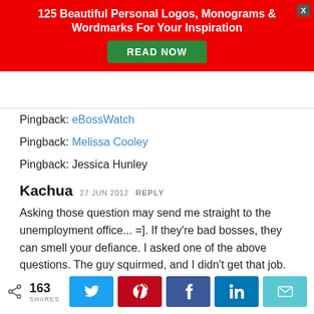[Figure (infographic): Advertisement banner with red background. Title: '125 Beautiful Personal Logos, Monograms & Wordmarks For Your Inspiration'. Green 'READ NOW' button. Close button top-right.]
Pingback: eBossWatch
Pingback: Melissa Cooley
Pingback: Jessica Hunley
Kachua 27 JUN 2012 REPLY
Asking those question may send me straight to the unemployment office... =]. If they're bad bosses, they can smell your defiance. I asked one of the above questions. The guy squirmed, and I didn't get that job.
[Figure (infographic): Social share bar with share icon, 163 SHARES count, and buttons for Twitter, Pinterest, Facebook, LinkedIn, and Email.]